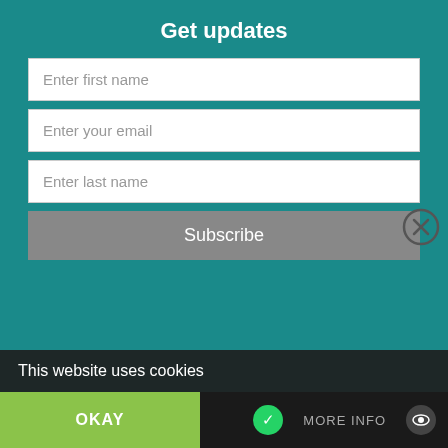Get updates
Enter first name
Enter your email
Enter last name
Subscribe
worse.  Authors BEWARE!
So, that was a major embarrassment for me...  To realise that I had so easily fallen for a scam, and that I still did not know how I was going to get my book published, and who I could trust.  I had thought since they were American, international and established, I could trust them, but I could not.
BRANDINI OR MOONLIGHT PUBLISHING?
This website uses cookies
OKAY
MORE INFO